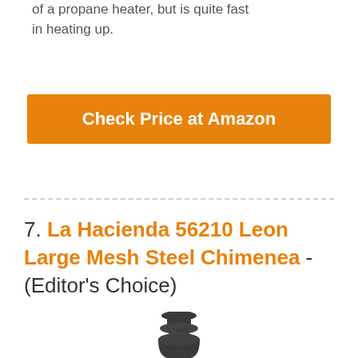of a propane heater, but is quite fast in heating up.
[Figure (other): Orange 'Check Price at Amazon' button]
7. La Hacienda 56210 Leon Large Mesh Steel Chimenea - (Editor's Choice)
[Figure (photo): Photo of a chimenea top/neck portion, dark metallic finish, showing the chimney stack and upper body of the chimenea]